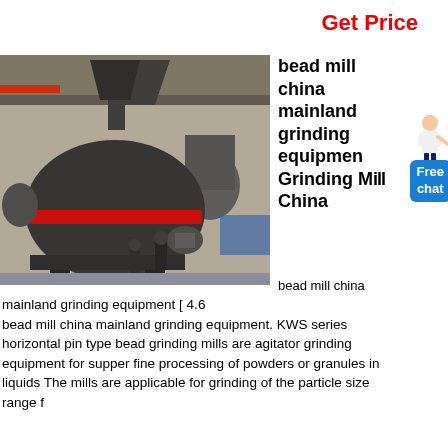Get Price
[Figure (photo): Industrial grinding mill machinery inside a large factory/warehouse. Large dark-colored ball mill or grinding equipment visible in foreground, with workers and additional machinery in background.]
bead mill china mainland grinding equipment Grinding Mill China
bead mill china
mainland grinding equipment [ 4.6
bead mill china mainland grinding equipment. KWS series horizontal pin type bead grinding mills are agitator grinding equipment for supper fine processing of powders or granules in liquids The mills are applicable for grinding of the particle size range f